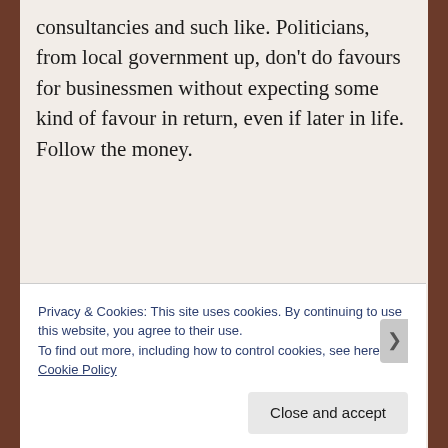consultancies and such like. Politicians, from local government up, don't do favours for businessmen without expecting some kind of favour in return, even if later in life. Follow the money.
It's been two years since Mr Abbott became top dog, and in this time we've lost so much. Massive cuts to our ABC and the SBS, thousands of experts forced out of the CSIRO,
Privacy & Cookies: This site uses cookies. By continuing to use this website, you agree to their use.
To find out more, including how to control cookies, see here: Cookie Policy
Close and accept